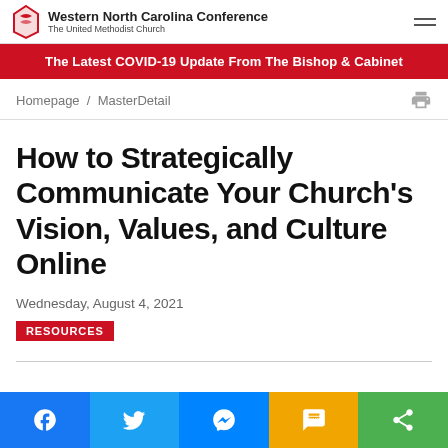Western North Carolina Conference / The United Methodist Church
The Latest COVID-19 Update From The Bishop & Cabinet
Homepage / MasterDetail
How to Strategically Communicate Your Church's Vision, Values, and Culture Online
Wednesday, August 4, 2021
RESOURCES